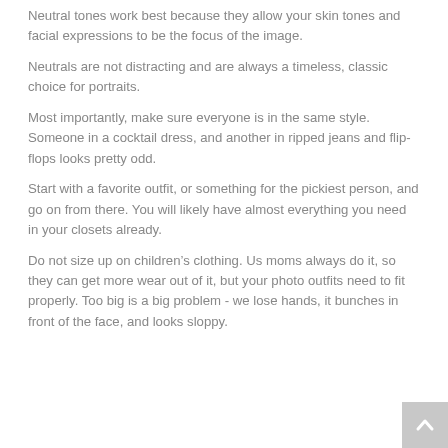Neutral tones work best because they allow your skin tones and facial expressions to be the focus of the image.
Neutrals are not distracting and are always a timeless, classic choice for portraits.
Most importantly, make sure everyone is in the same style. Someone in a cocktail dress, and another in ripped jeans and flip-flops looks pretty odd.
Start with a favorite outfit, or something for the pickiest person, and go on from there. You will likely have almost everything you need in your closets already.
Do not size up on children’s clothing. Us moms always do it, so they can get more wear out of it, but your photo outfits need to fit properly. Too big is a big problem - we lose hands, it bunches in front of the face, and looks sloppy.